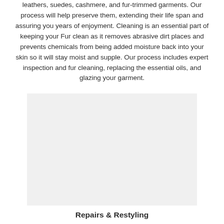leathers, suedes, cashmere, and fur-trimmed garments. Our process will help preserve them, extending their life span and assuring you years of enjoyment. Cleaning is an essential part of keeping your Fur clean as it removes abrasive dirt places and prevents chemicals from being added moisture back into your skin so it will stay moist and supple. Our process includes expert inspection and fur cleaning, replacing the essential oils, and glazing your garment.
[Figure (photo): A rectangular light gray placeholder image, likely a photo of a fur garment or service illustration.]
Repairs & Restyling